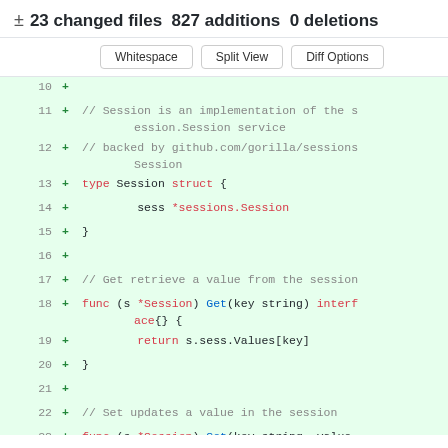± 23 changed files 827 additions 0 deletions
Whitespace | Split View | Diff Options
[Figure (screenshot): Code diff view showing added lines 10-24 of a Go session implementation file with syntax highlighting. Lines show struct definition, Get and Set methods for a Session type backed by gorilla/sessions.]